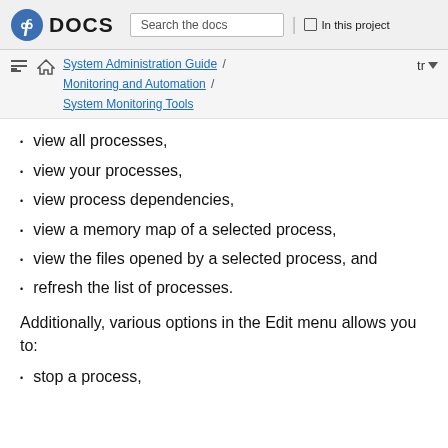Fedora DOCS | Search the docs | In this project
System Administration Guide / Monitoring and Automation / System Monitoring Tools | tr
view all processes,
view your processes,
view process dependencies,
view a memory map of a selected process,
view the files opened by a selected process, and
refresh the list of processes.
Additionally, various options in the Edit menu allows you to:
stop a process,